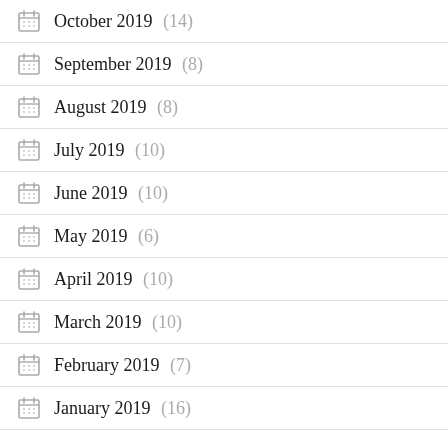October 2019 (14)
September 2019 (8)
August 2019 (8)
July 2019 (10)
June 2019 (10)
May 2019 (6)
April 2019 (10)
March 2019 (10)
February 2019 (7)
January 2019 (16)